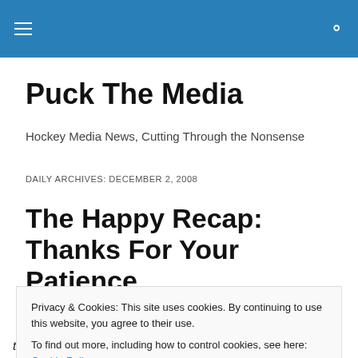Puck The Media — navigation header
Puck The Media
Hockey Media News, Cutting Through the Nonsense
DAILY ARCHIVES: DECEMBER 2, 2008
The Happy Recap: Thanks For Your Patience
Privacy & Cookies: This site uses cookies. By continuing to use this website, you agree to their use. To find out more, including how to control cookies, see here: Cookie Policy
that makes us laugh. This one's for us, but we hope you'll